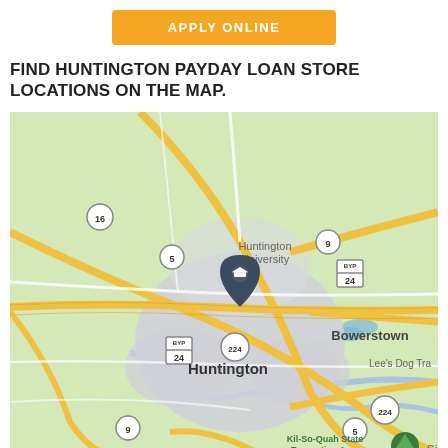APPLY ONLINE
FIND HUNTINGTON PAYDAY LOAN STORE LOCATIONS ON THE MAP.
[Figure (map): Google Maps view of Huntington, Indiana showing city center, Huntington University, surrounding roads including routes 5, 9, 16, 24 (BYP), and 224. A dark location pin with a graduation cap icon marks Huntington University. Nearby places shown include Bowerstown and Lee's Dog Tra(ining). Kil-So-Quah State Recreation Area visible at bottom.]